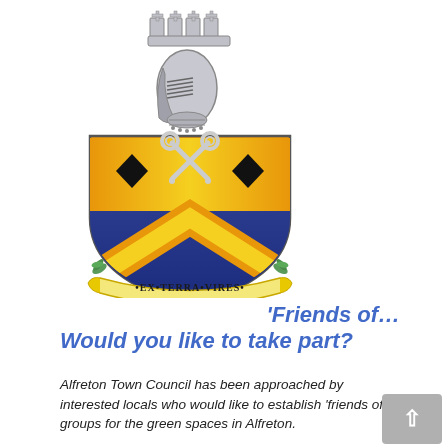[Figure (illustration): Alfreton Town Council coat of arms featuring a shield with black diamonds and crossed keys on gold/orange upper half, blue lower half with gold and orange chevron, topped by a helmet and merloned crown. A scroll at the bottom reads 'EX TERRA VIRES' with green leaf flourishes.]
'Friends of… Would you like to take part?
Alfreton Town Council has been approached by interested locals who would like to establish 'friends of' groups for the green spaces in Alfreton.